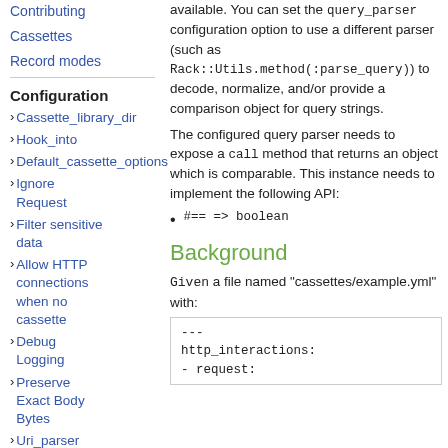Contributing
Cassettes
Record modes
Configuration
Cassette_library_dir
Hook_into
Default_cassette_options
Ignore Request
Filter sensitive data
Allow HTTP connections when no cassette
Debug Logging
Preserve Exact Body Bytes
Uri_parser
available. You can set the query_parser configuration option to use a different parser (such as Rack::Utils.method(:parse_query)) to decode, normalize, and/or provide a comparison object for query strings.
The configured query parser needs to expose a call method that returns an object which is comparable. This instance needs to implement the following API:
#== => boolean
Background
Given a file named "cassettes/example.yml" with:
---
http_interactions:
- request: